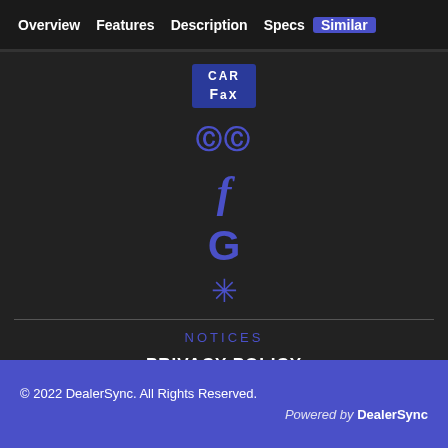Overview   Features   Description   Specs   Similar
[Figure (logo): CARFAX logo — blue box with CAR on top and FAx on bottom in white text]
[Figure (logo): CC icon — two overlapping circles in blue representing closed captioning or creative commons]
[Figure (logo): Facebook f logo in blue]
[Figure (logo): Google G logo in blue]
[Figure (logo): Yelp star/asterisk logo in blue]
NOTICES
PRIVACY POLICY
DISCLAIMER NOTICE
© 2022 DealerSync. All Rights Reserved.   Powered by DealerSync